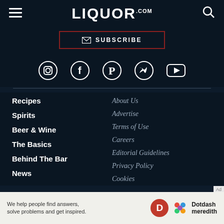LIQUOR.COM
SUBSCRIBE
[Figure (infographic): Social media icons: Instagram, Facebook, Pinterest, Twitter, YouTube]
Recipes
Spirits
Beer & Wine
The Basics
Behind The Bar
News
About Us
Advertise
Terms of Use
Careers
Editorial Guidelines
Privacy Policy
Cookies
We help people find answers, solve problems and get inspired. Dotdash meredith